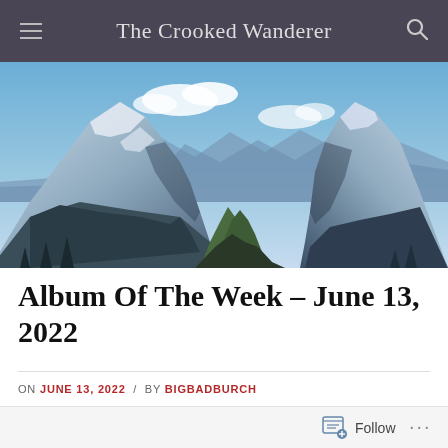The Crooked Wanderer
[Figure (photo): Panoramic mountain landscape with snow-covered peaks, blue sky with clouds, and a valley between steep rocky cliffs]
Album Of The Week – June 13, 2022
ON JUNE 13, 2022 / BY BIGBADBURCH